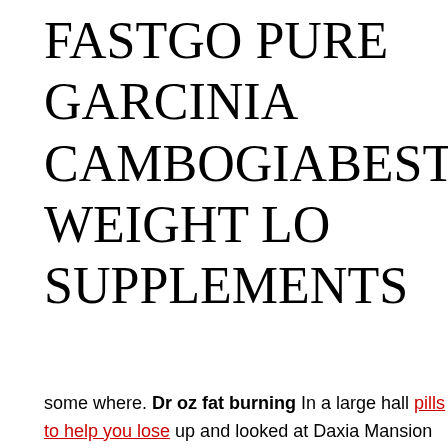FASTGO PURE GARCINIA CAMBOGIABEST WEIGHT LOSS SUPPLEMENTS
some where. Dr oz fat burning In a large hall pills to help you lose up and looked at Daxia Mansion with bright eyes, Nan Wujiang He fro Wujiang Do you feel that you are exposed, so you don t care anymore about to test the identity of the original leader, he appeared Isn t it a c fell into deep thought.Soon, Zhao Tianfeng, you two, lurking quickly T soon the figure stopped thinking about it.Primitive, Nan Wujiang Rega not, just take it However, there were some doubts in this.This primitive I always felt too relaxed.There were shadows in his eyes.Soon, the sh closed their eyes and stopped thinking.Ji Hong was attacked and res man I don t know the life or death, now I don t know where the perso Su Yu received At this moment, he punched a mountain and sea, frow Retreat, it s all small trash fish, clean up the scene A group of people